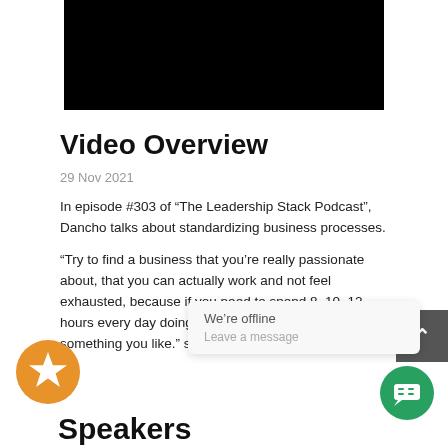[Figure (screenshot): Black video thumbnail/player area]
Video Overview
29 Nov 2021
In episode #303 of “The Leadership Stack Podcast”, Dancho talks about standardizing business processes.
“Try to find a business that you’re really passionate about, that you can actually work and not feel exhausted, because if you need to spend 8, 10, 12 hours every day doing something, at least find something you like.” says Dancho.
Speakers